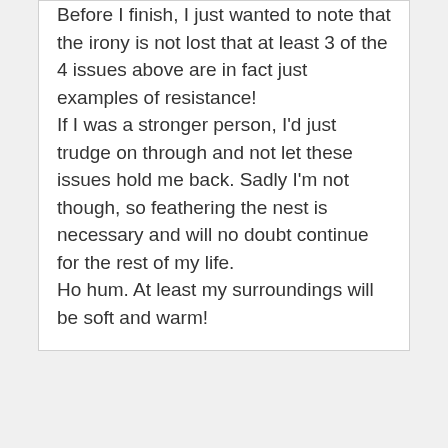Before I finish, I just wanted to note that the irony is not lost that at least 3 of the 4 issues above are in fact just examples of resistance!
If I was a stronger person, I'd just trudge on through and not let these issues hold me back. Sadly I'm not though, so feathering the nest is necessary and will no doubt continue for the rest of my life.
Ho hum. At least my surroundings will be soft and warm!
Leave a Reply